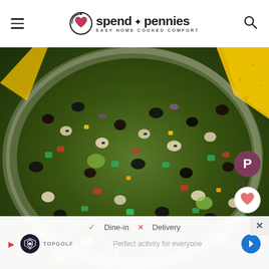spend with pennies — EASY HOME COOKED COMFORT
[Figure (photo): Close-up overhead photo of a large glass bowl filled with cowboy caviar / bean salad containing black beans, black-eyed peas, corn, diced red and green bell peppers, and avocado, with a tortilla chip dipped into the side. Pinterest and save buttons visible on the right side.]
[Figure (screenshot): Advertisement overlay at the bottom showing Topgolf ad with checkmark Dine-in and X Delivery options, play button, Topgolf logo, navigation arrow, and text 'Perfect activity for everyone']